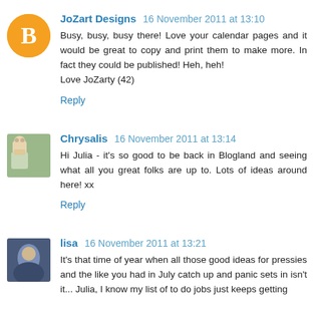JoZart Designs 16 November 2011 at 13:10
Busy, busy, busy there! Love your calendar pages and it would be great to copy and print them to make more. In fact they could be published! Heh, heh!
Love JoZarty (42)
Reply
Chrysalis 16 November 2011 at 13:14
Hi Julia - it's so good to be back in Blogland and seeing what all you great folks are up to. Lots of ideas around here! xx
Reply
lisa 16 November 2011 at 13:21
It's that time of year when all those good ideas for pressies and the like you had in July catch up and panic sets in isn't it... Julia, I know my list of to do jobs just keeps getting